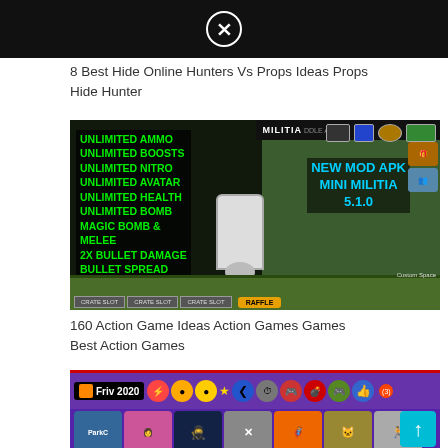[Figure (screenshot): Ad banner with close (X) button on black background]
8 Best Hide Online Hunters Vs Props Ideas Props Hide Hunter
[Figure (screenshot): Mini Militia New Mod APK 5.1.0 screenshot with green text listing: UNLIMITED AMMO, UNLIMITED BOOSTS, UNLIMITED NITRO, UNLIMITED AVATAR, UNLIMITED HEALTH, UNLIMITED BOMB, MAGIC BOMB & MELEE, 2X BULLET DAMAGE, BULLET SPREAD, TRICKY MAPS. Blue text: NEW MOD APK MINI MILITIA 5.1.0]
160 Action Game Ideas Action Games Games Best Action Games
[Figure (screenshot): Friv 2020 games website screenshot showing game icons row and a teal up-arrow button]